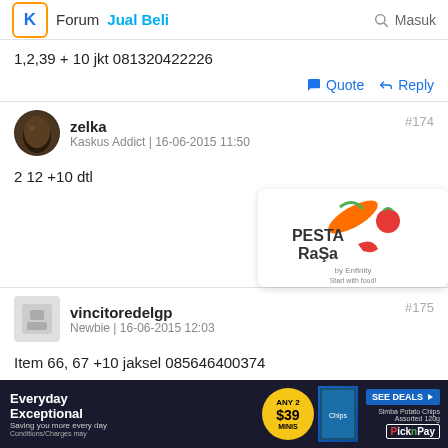Forum Jual Beli Masuk
1,2,39 + 10 jkt 081320422226
Quote Reply
zelka
Kaskus Addict | 16-06-2015 11:50
#174
2 12 +10 dtl
vincitoredelgp
Newbie | 16-06-2015 12:03
#175
Item 66, 67 +10 jaksel 085646400374
[Figure (screenshot): Advertisement banner: Everyday Exceptional, ANY 2 $39, Simba Potato Chips Assorted 120g, SEE DEALS, Pick n Pay logo]
Reply